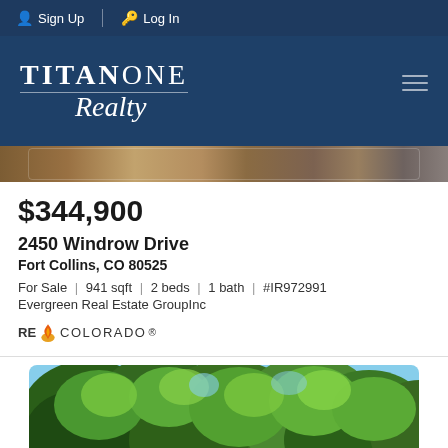Sign Up | Log In
[Figure (logo): TitanOne Realty logo with white serif text on dark navy background]
[Figure (photo): Partial view of a property exterior image strip]
$344,900
2450 Windrow Drive
Fort Collins, CO 80525
For Sale | 941 sqft | 2 beds | 1 bath | #IR972991
Evergreen Real Estate GroupInc
[Figure (logo): RE Colorado logo with flame icon]
[Figure (photo): Property photo showing large green trees with blue sky in background]